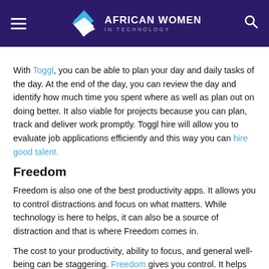AFRICAN WOMEN IN TECHNOLOGY
With Toggl, you can be able to plan your day and daily tasks of the day. At the end of the day, you can review the day and identify how much time you spent where as well as plan out on doing better. It also viable for projects because you can plan, track and deliver work promptly. Toggl hire will allow you to evaluate job applications efficiently and this way you can hire good talent.
Freedom
Freedom is also one of the best productivity apps. It allows you to control distractions and focus on what matters. While technology is here to helps, it can also be a source of distraction and that is where Freedom comes in.
The cost to your productivity, ability to focus, and general well-being can be staggering. Freedom gives you control. It helps with all the things that could possibly be a distraction, games, social media, online shopping. It is available for Mac, windows, Android, iOS and Chrome.